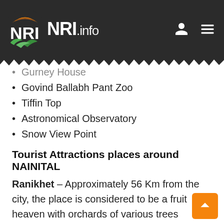NRI.info
Gurney House
Govind Ballabh Pant Zoo
Tiffin Top
Astronomical Observatory
Snow View Point
Tourist Attractions places around NAINITAL
Ranikhet – Approximately 56 Km from the city, the place is considered to be a fruit heaven with orchards of various trees pouring sweetness. The serene place is ideal for an outing on the road.
Almora – The beautiful place is ideal for a summer escape, with all its temples, Nature's destination that serves as a perfect picnic spot.